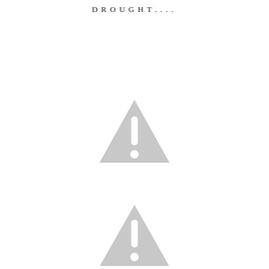DROUGHT....
[Figure (illustration): Warning triangle icon with exclamation mark, gray colored, first instance]
[Figure (illustration): Warning triangle icon with exclamation mark, gray colored, second instance]